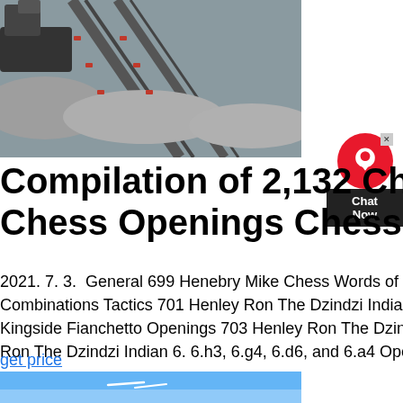[Figure (photo): Aerial view of a mining or industrial facility with conveyor belts, machinery, and gravel/ore piles.]
Compilation of 2,132 Chess Boo Chess Openings Chess
2021. 7. 3. General 699 Henebry Mike Chess Words of Wisdom General 700 Henkin Victor 1000 Checkmate Combinations Tactics 701 Henley Ron The Dzindzi Indian 1. 6.e3 Openings 702 Henley Ron The Dzindzi Indian 2. 6.g3 Kingside Fianchetto Openings 703 Henley Ron The Dzindzi Indian 5. 6.e4 fxe4 without 7.f3 or 7.h4 Openings 704 Henley Ron The Dzindzi Indian 6. 6.h3, 6.g4, 6.d6, and 6.a4 Openings 705 Henley
get price
[Figure (photo): Blue sky with faint white streaks, partial view at bottom of page.]